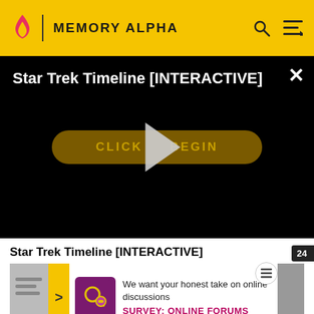MEMORY ALPHA
[Figure (screenshot): Video player with black background showing 'Star Trek Timeline [INTERACTIVE]' title, a golden 'CLICK TO BEGIN' button with a play triangle overlay, and a white X close button.]
Star Trek Timeline [INTERACTIVE]
[Figure (infographic): Survey advertisement showing a purple icon with magnifying glass and gears, text 'We want your honest take on online discussions' and 'SURVEY: ONLINE FORUMS' link in pink.]
"You kn...
In eng...